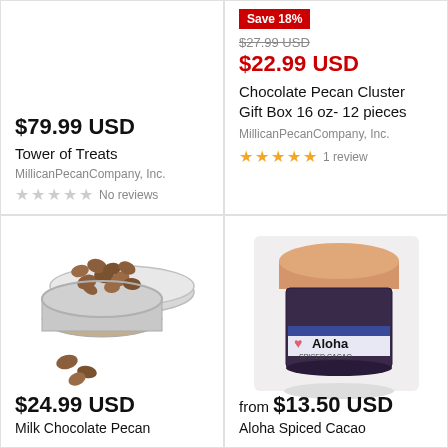$79.99 USD
Tower of Treats
MillicanPecanCompany, Inc.
No reviews
Save 18%
$27.99 USD
$22.99 USD
Chocolate Pecan Cluster Gift Box 16 oz- 12 pieces
MillicanPecanCompany, Inc.
1 review
[Figure (photo): Open tin of milk chocolate pecans with loose pecans beside it]
$24.99 USD
Milk Chocolate Pecan
[Figure (photo): Jar of Aloha Spiced Cacao Lavender with peach/tan lid]
from $13.50 USD
Aloha Spiced Cacao